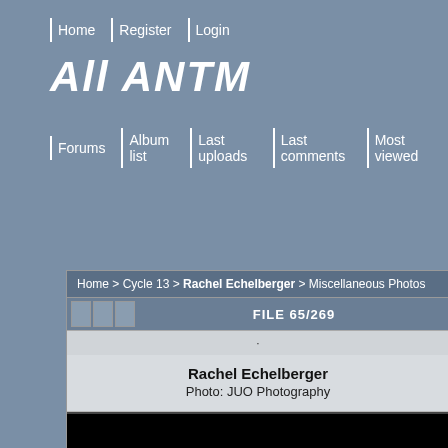Home | Register | Login
All ANTM
Forums | Album list | Last uploads | Last comments | Most viewed
Home > Cycle 13 > Rachel Echelberger > Miscellaneous Photos
FILE 65/269
Rachel Echelberger
Photo: JUO Photography
[Figure (photo): Black area representing photo content area with a blue dot marker]